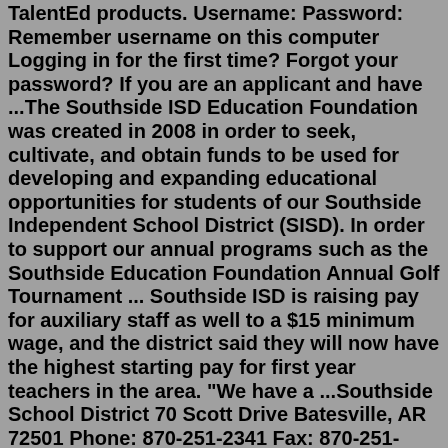TalentEd products. Username: Password: Remember username on this computer Logging in for the first time? Forgot your password? If you are an applicant and have ...The Southside ISD Education Foundation was created in 2008 in order to seek, cultivate, and obtain funds to be used for developing and expanding educational opportunities for students of our Southside Independent School District (SISD). In order to support our annual programs such as the Southside Education Foundation Annual Golf Tournament ... Southside ISD is raising pay for auxiliary staff as well to a $15 minimum wage, and the district said they will now have the highest starting pay for first year teachers in the area. "We have a ...Southside School District 70 Scott Drive Batesville, AR 72501 Phone: 870-251-2341 Fax: 870-251-3316. Schools . Southside School District ; Southside Preschool ; Southside Independent School District is located in Bexar County, Texas. Southside Independent School District is located in Bexar County, Texas. It is classified as a rural school district